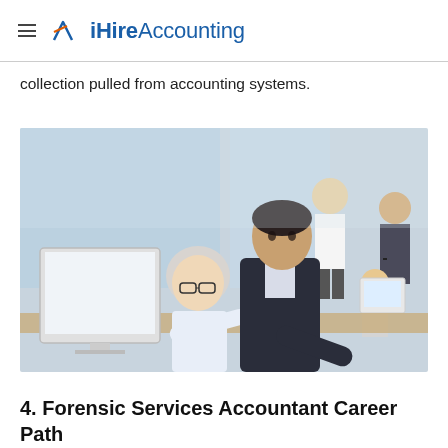iHireAccounting
collection pulled from accounting systems.
[Figure (photo): Two office professionals looking at a computer monitor together in a modern open-plan office. A woman with white/silver hair and glasses is seated, and a man in a dark suit is leaning over her shoulder to look at the screen. Other office workers are visible in the background.]
4. Forensic Services Accountant Career Path